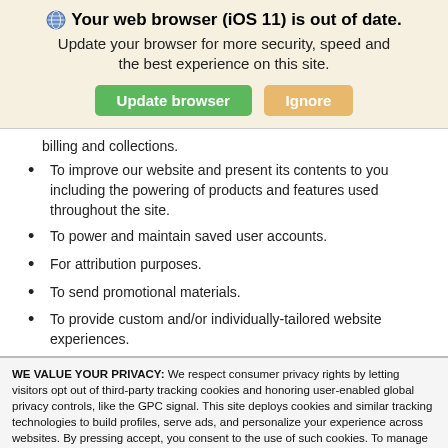Your web browser (iOS 11) is out of date. Update your browser for more security, speed and the best experience on this site.
billing and collections.
To improve our website and present its contents to you including the powering of products and features used throughout the site.
To power and maintain saved user accounts.
For attribution purposes.
To send promotional materials.
To provide custom and/or individually-tailored website experiences.
WE VALUE YOUR PRIVACY: We respect consumer privacy rights by letting visitors opt out of third-party tracking cookies and honoring user-enabled global privacy controls, like the GPC signal. This site deploys cookies and similar tracking technologies to build profiles, serve ads, and personalize your experience across websites. By pressing accept, you consent to the use of such cookies. To manage your privacy rights or view the categories of personal information we collect and the purposes for which the information is used, click here.
Language: English  Powered by ComplyAuto